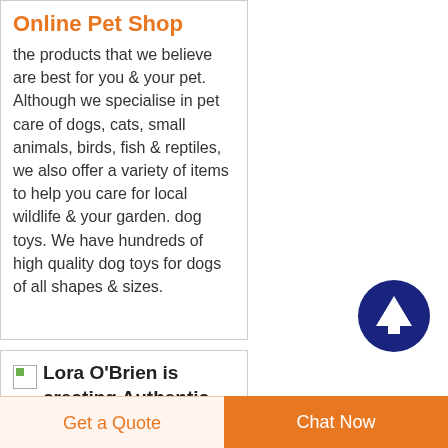Online Pet Shop
the products that we believe are best for you & your pet. Although we specialise in pet care of dogs, cats, small animals, birds, fish & reptiles, we also offer a variety of items to help you care for local wildlife & your garden. dog toys. We have hundreds of high quality dog toys for dogs of all shapes & sizes.
[Figure (illustration): Dark blue circular button with upward-pointing white arrow (scroll to top button)]
[Figure (photo): Small broken image placeholder icon]
Lora O'Brien is creating Authentic Connection to Ireland
Get a Quote
Chat Now